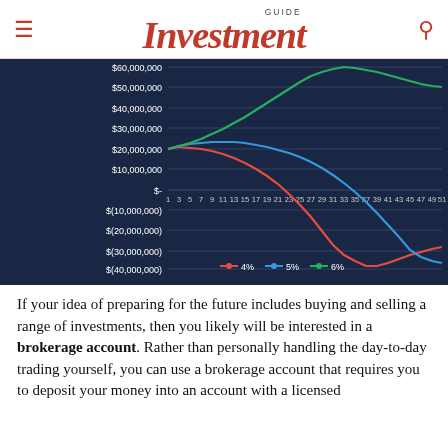GUIDE Investment
[Figure (line-chart): Investment growth at 4%, 5%, 6%]
If your idea of preparing for the future includes buying and selling a range of investments, then you likely will be interested in a brokerage account. Rather than personally handling the day-to-day trading yourself, you can use a brokerage account that requires you to deposit your money into an account with a licensed